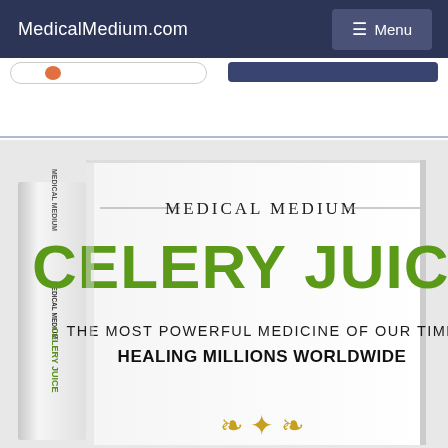MedicalMedium.com
[Figure (photo): Book cover of 'Medical Medium Celery Juice: The Most Powerful Medicine of Our Time Healing Millions Worldwide' shown at an angle with the spine visible on the left. The book cover has a white background with 'MEDICAL MEDIUM' in dark text at the top, 'CELERY JUICE' in large green letters, and 'THE MOST POWERFUL MEDICINE OF OUR TIME HEALING MILLIONS WORLDWIDE' in bold black text below.]